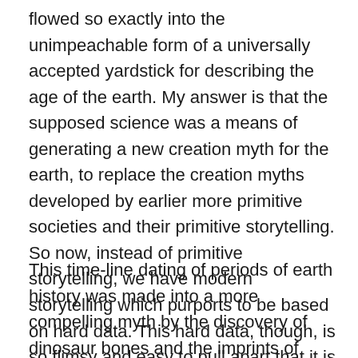flowed so exactly into the unimpeachable form of a universally accepted yardstick for describing the age of the earth. My answer is that the supposed science was a means of generating a new creation myth for the earth, to replace the creation myths developed by earlier more primitive societies and their primitive storytelling. So now, instead of primitive storytelling, we have modern storytelling which purports to be based on hard data. This hard data, though, is so flimsy and easy to pull apart that it is evident that what seems to be impersonal science is in fact a myth no different than that of primitive societies.
This time-line dating of periods of earth history was made into a more compelling myth by the discovery of dinosaur bones and the imprints of such fossil creatures as Trilobites. There has always been a lot of public drama associated with the reconstruction of the life-like look of...